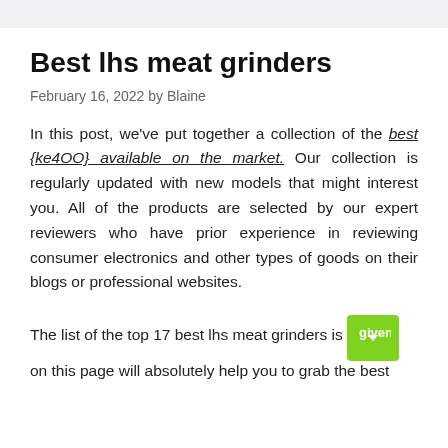Best lhs meat grinders
February 16, 2022 by Blaine
In this post, we've put together a collection of the best {ke4OO} available on the market. Our collection is regularly updated with new models that might interest you. All of the products are selected by our expert reviewers who have prior experience in reviewing consumer electronics and other types of goods on their blogs or professional websites.
The list of the top 17 best lhs meat grinders is given on this page will absolutely help you to grab the best